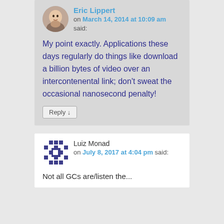Eric Lippert on March 14, 2014 at 10:09 am said:
My point exactly. Applications these days regularly do things like download a billion bytes of video over an intercontenental link; don't sweat the occasional nanosecond penalty!
Reply ↓
Luiz Monad on July 8, 2017 at 4:04 pm said:
Not all GCs are/listen the...